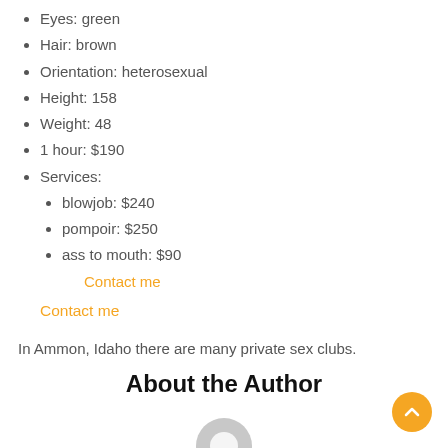Eyes: green
Hair: brown
Orientation: heterosexual
Height: 158
Weight: 48
1 hour: $190
Services:
blowjob: $240
pompoir: $250
ass to mouth: $90
Contact me
Contact me
In Ammon, Idaho there are many private sex clubs.
About the Author
[Figure (illustration): Generic user/author avatar placeholder icon in light gray]